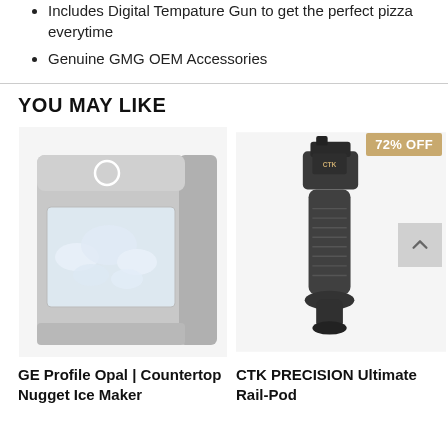Includes Digital Tempature Gun to get the perfect pizza everytime
Genuine GMG OEM Accessories
YOU MAY LIKE
[Figure (photo): GE Profile Opal Countertop Nugget Ice Maker product photo on white background]
GE Profile Opal | Countertop Nugget Ice Maker
[Figure (photo): CTK PRECISION Ultimate Rail-Pod product photo with 72% OFF badge]
CTK PRECISION Ultimate Rail-Pod